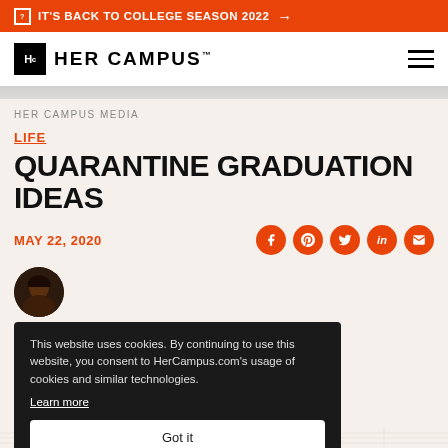IT'S BACK TO COLLEGE SEASON 2022 →
[Figure (logo): Her Campus logo with Hc box and text HER CAMPUS]
HER CAMPUS MEDIA
LIFE
QUARANTINE GRADUATION IDEAS
MAY 22, 2020
[Figure (infographic): Cookie consent banner overlay: 'This website uses cookies. By continuing to use this website, you consent to HerCampus.com's usage of cookies and similar technologies. Learn more' with 'Got it' button]
...the SCAD Class of 2020. As